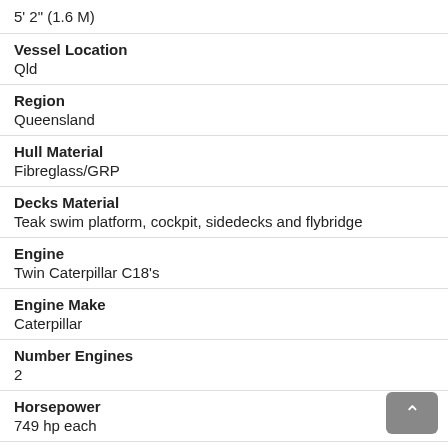5' 2" (1.6 M)
Vessel Location
Qld
Region
Queensland
Hull Material
Fibreglass/GRP
Decks Material
Teak swim platform, cockpit, sidedecks and flybridge
Engine
Twin Caterpillar C18's
Engine Make
Caterpillar
Number Engines
2
Horsepower
749 hp each
Fuel Type
Diesel